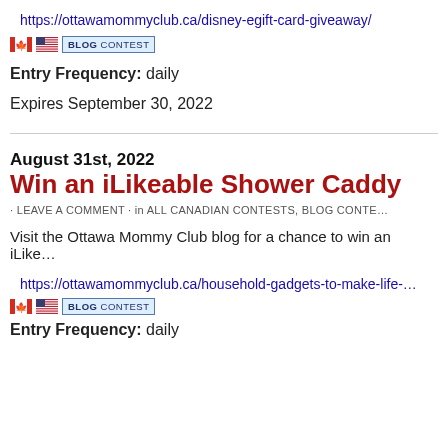https://ottawamommyclub.ca/disney-egift-card-giveaway/
[Figure (other): Canadian flag emoji, US flag emoji, and a blue BLOG CONTEST badge]
Entry Frequency: daily
Expires September 30, 2022
August 31st, 2022
Win an iLikeable Shower Caddy
· LEAVE A COMMENT · in ALL CANADIAN CONTESTS, BLOG CONTE...
Visit the Ottawa Mommy Club blog for a chance to win an iLike...
https://ottawamommyclub.ca/household-gadgets-to-make-life-...
[Figure (other): Canadian flag emoji, US flag emoji, and a blue BLOG CONTEST badge]
Entry Frequency: daily